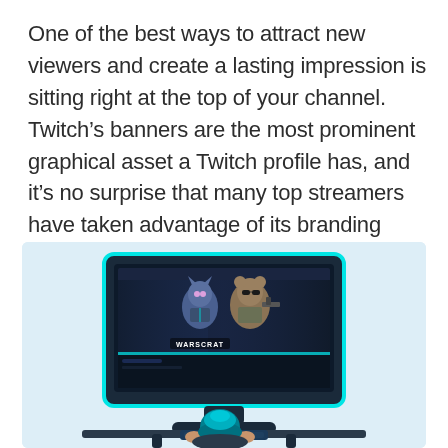One of the best ways to attract new viewers and create a lasting impression is sitting right at the top of your channel. Twitch's banners are the most prominent graphical asset a Twitch profile has, and it's no surprise that many top streamers have taken advantage of its branding potential.
[Figure (illustration): Illustration of a person sitting at a desk from behind, viewing a gaming monitor displaying a Twitch channel banner with animated characters and the text 'WARSCRAT'. The background is light blue.]